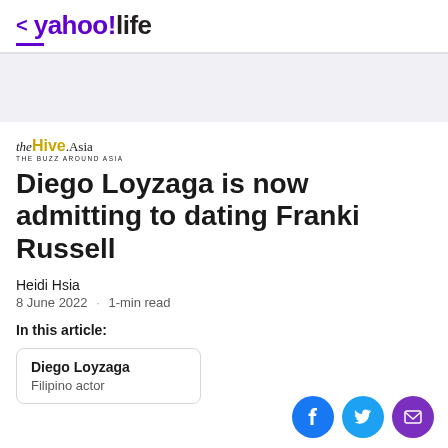< yahoo!life
[Figure (logo): theHive.Asia logo with tagline THE BUZZ AROUND ASIA]
Diego Loyzaga is now admitting to dating Franki Russell
Heidi Hsia
8 June 2022 · 1-min read
In this article:
Diego Loyzaga
Filipino actor